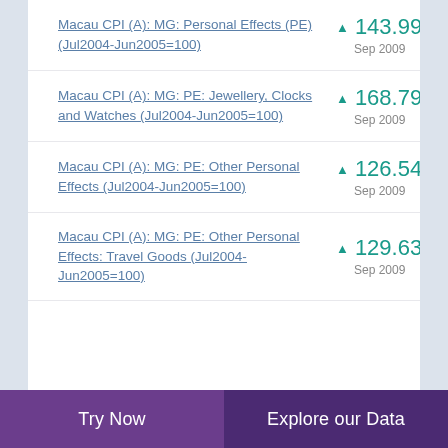Macau CPI (A): MG: Personal Effects (PE) (Jul2004-Jun2005=100)
Macau CPI (A): MG: PE: Jewellery, Clocks and Watches (Jul2004-Jun2005=100)
Macau CPI (A): MG: PE: Other Personal Effects (Jul2004-Jun2005=100)
Macau CPI (A): MG: PE: Other Personal Effects: Travel Goods (Jul2004-Jun2005=100)
Try Now | Explore our Data